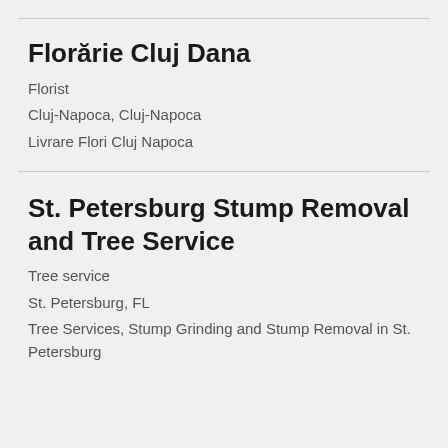Florărie Cluj Dana
Florist
Cluj-Napoca, Cluj-Napoca
Livrare Flori Cluj Napoca
St. Petersburg Stump Removal and Tree Service
Tree service
St. Petersburg, FL
Tree Services, Stump Grinding and Stump Removal in St. Petersburg